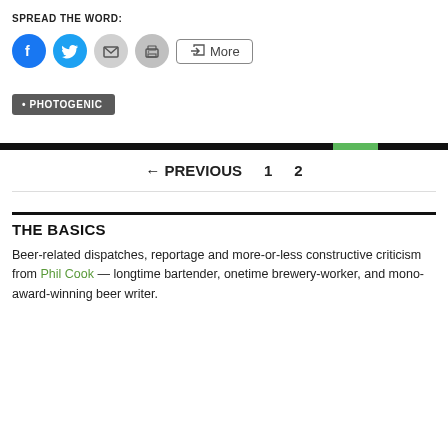SPREAD THE WORD:
[Figure (other): Social sharing icons: Facebook (blue circle), Twitter (light blue circle), Email (grey circle), Print (grey circle), and a More button with share icon]
• PHOTOGENIC
← PREVIOUS   1   2
THE BASICS
Beer-related dispatches, reportage and more-or-less constructive criticism from Phil Cook — longtime bartender, onetime brewery-worker, and mono-award-winning beer writer.